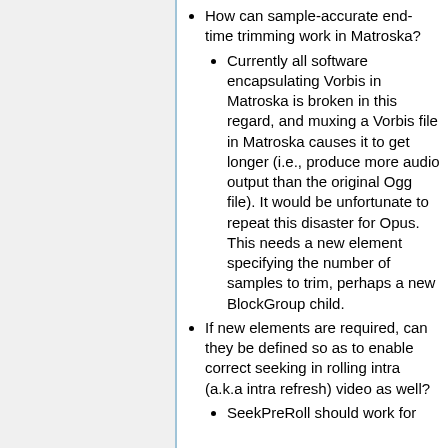How can sample-accurate end-time trimming work in Matroska?
Currently all software encapsulating Vorbis in Matroska is broken in this regard, and muxing a Vorbis file in Matroska causes it to get longer (i.e., produce more audio output than the original Ogg file). It would be unfortunate to repeat this disaster for Opus. This needs a new element specifying the number of samples to trim, perhaps a new BlockGroup child.
If new elements are required, can they be defined so as to enable correct seeking in rolling intra (a.k.a intra refresh) video as well?
SeekPreRoll should work for this, but...